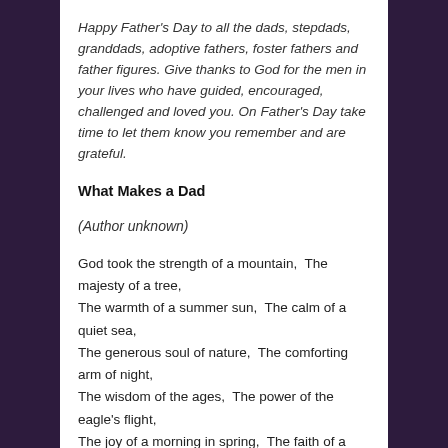Happy Father's Day to all the dads, stepdads, granddads, adoptive fathers, foster fathers and father figures. Give thanks to God for the men in your lives who have guided, encouraged, challenged and loved you. On Father's Day take time to let them know you remember and are grateful.
What Makes a Dad
(Author unknown)
God took the strength of a mountain,  The majesty of a tree,
The warmth of a summer sun,  The calm of a quiet sea,
The generous soul of nature,  The comforting arm of night,
The wisdom of the ages,  The power of the eagle's flight,
The joy of a morning in spring,  The faith of a mustard seed,
The patience of eternity,  The depth of a family need,
Then God combined these qualities,  When there was